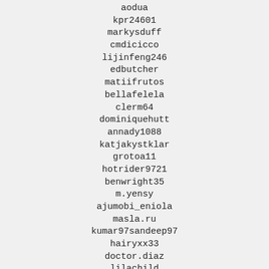aodua
kpr24601
markysduff
cmdicicco
lijinfeng246
edbutcher
matiifrutos
bellafelela
clerm64
dominiquehutt
annady1088
katjakystklar
grotoa11
hotrider9721
benwright35
m.yensy
ajumobi_eniola
masla.ru
kumar97sandeep97
hairyxx33
doctor.diaz
lilachild
46544181004
martinez_chipis